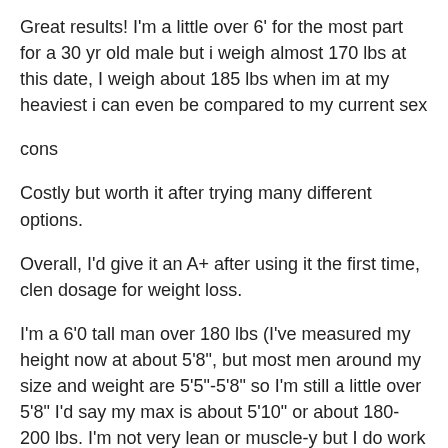Great results! I'm a little over 6' for the most part for a 30 yr old male but i weigh almost 170 lbs at this date, I weigh about 185 lbs when im at my heaviest i can even be compared to my current sex
cons
Costly but worth it after trying many different options.
Overall, I'd give it an A+ after using it the first time, clen dosage for weight loss.
I'm a 6'0 tall man over 180 lbs (I've measured my height now at about 5'8", but most men around my size and weight are 5'5"-5'8" so I'm still a little over 5'8" I'd say my max is about 5'10" or about 180-200 lbs. I'm not very lean or muscle-y but I do work out and eat well (mostly a keto diet with some fruits and vegetables) at just like